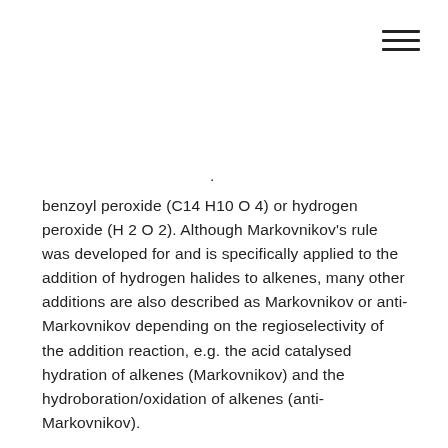benzoyl peroxide (C14 H10 O4) or hydrogen peroxide (H2 O2). Although Markovnikov's rule was developed for and is specifically applied to the addition of hydrogen halides to alkenes, many other additions are also described as Markovnikov or anti-Markovnikov depending on the regioselectivity of the addition reaction, e.g. the acid catalysed hydration of alkenes (Markovnikov) and the hydroboration/oxidation of alkenes (anti-Markovnikov).
More insight into the mechanisms of addition reactions to alkenes is needed before completely abandoning Markovnikov and anti-